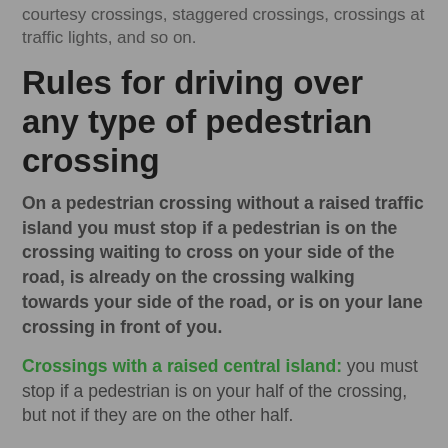courtesy crossings, staggered crossings, crossings at traffic lights, and so on.
Rules for driving over any type of pedestrian crossing
On a pedestrian crossing without a raised traffic island you must stop if a pedestrian is on the crossing waiting to cross on your side of the road, is already on the crossing walking towards your side of the road, or is on your lane crossing in front of you.
Crossings with a raised central island: you must stop if a pedestrian is on your half of the crossing, but not if they are on the other half.